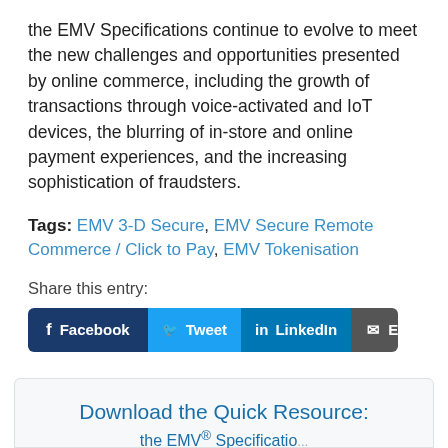the EMV Specifications continue to evolve to meet the new challenges and opportunities presented by online commerce, including the growth of transactions through voice-activated and IoT devices, the blurring of in-store and online payment experiences, and the increasing sophistication of fraudsters.
Tags: EMV 3-D Secure, EMV Secure Remote Commerce / Click to Pay, EMV Tokenisation
Share this entry:
[Figure (infographic): Social share buttons row: Facebook, Tweet, LinkedIn, Email]
Download the Quick Resource: